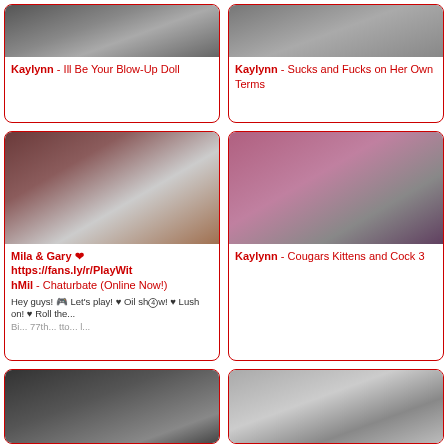[Figure (photo): Photo thumbnail top left]
Kaylynn - Ill Be Your Blow-Up Doll
[Figure (photo): Photo thumbnail top right]
Kaylynn - Sucks and Fucks on Her Own Terms
[Figure (photo): Photo thumbnail middle left - two people on couch]
Mila & Gary ❤ https://fans.ly/r/PlayWithMil - Chaturbate (Online Now!)
Hey guys! 🎮 Let's play! ♥ Oil show! ♥ Lush on! ♥ Roll the... Bi... 77th...
[Figure (photo): Photo thumbnail middle right - two women]
Kaylynn - Cougars Kittens and Cock 3
[Figure (photo): Photo thumbnail bottom left]
[Figure (photo): Photo thumbnail bottom right]